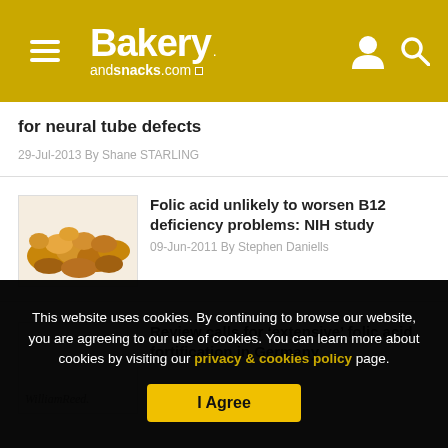Bakery andsnacks.com
for neural tube defects
29-Jul-2013 By Shane STARLING
Folic acid unlikely to worsen B12 deficiency problems: NIH study
09-Jun-2011 By Stephen Daniells
Review calls for 'extensive' folic acid fortification in Germany
This website uses cookies. By continuing to browse our website, you are agreeing to our use of cookies. You can learn more about cookies by visiting our privacy & cookies policy page.